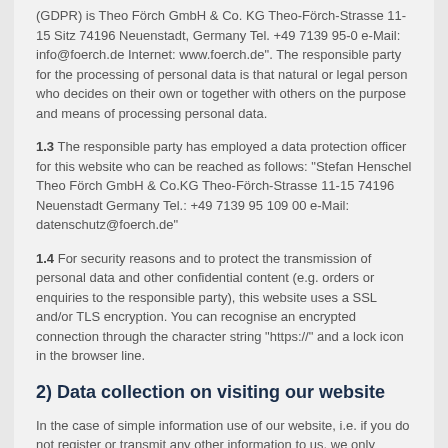(GDPR) is Theo Förch GmbH & Co. KG Theo-Förch-Strasse 11-15 Sitz 74196 Neuenstadt, Germany Tel. +49 7139 95-0 e-Mail: info@foerch.de Internet: www.foerch.de". The responsible party for the processing of personal data is that natural or legal person who decides on their own or together with others on the purpose and means of processing personal data.
1.3 The responsible party has employed a data protection officer for this website who can be reached as follows: "Stefan Henschel Theo Förch GmbH & Co.KG Theo-Förch-Strasse 11-15 74196 Neuenstadt Germany Tel.: +49 7139 95 109 00 e-Mail: datenschutz@foerch.de"
1.4 For security reasons and to protect the transmission of personal data and other confidential content (e.g. orders or enquiries to the responsible party), this website uses a SSL and/or TLS encryption. You can recognise an encrypted connection through the character string "https://" and a lock icon in the browser line.
2) Data collection on visiting our website
In the case of simple information use of our website, i.e. if you do not register or transmit any other information to us, we only collect that data which your browser